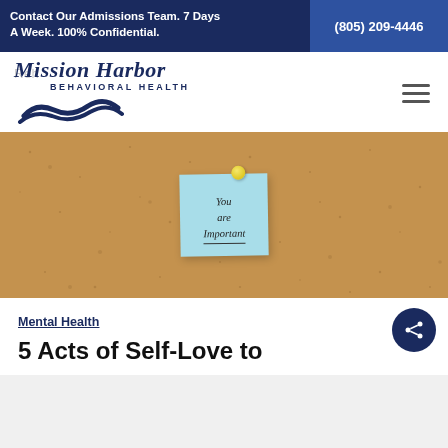Contact Our Admissions Team. 7 Days A Week. 100% Confidential. (805) 209-4446
[Figure (logo): Mission Harbor Behavioral Health logo with script text and wave graphic]
[Figure (photo): Corkboard with a light blue sticky note pinned with a yellow pushpin, handwritten text reading 'You are Important' with underline]
Mental Health
5 Acts of Self-Love to